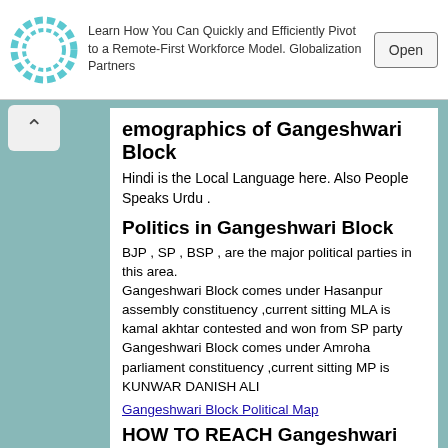[Figure (other): Advertisement banner with circular logo, text about remote workforce, and Open button]
emographics of Gangeshwari Block
Hindi is the Local Language here. Also People Speaks Urdu .
Politics in Gangeshwari Block
BJP , SP , BSP , are the major political parties in this area.
Gangeshwari Block comes under Hasanpur assembly constituency ,current sitting MLA is kamal akhtar contested and won from SP party
Gangeshwari Block comes under Amroha parliament constituency ,current sitting MP is KUNWAR DANISH ALI
Gangeshwari Block Political Map
HOW TO REACH Gangeshwari Block
By Rail
There is no railway station near to Gangeshwari Block in less than 10 km.